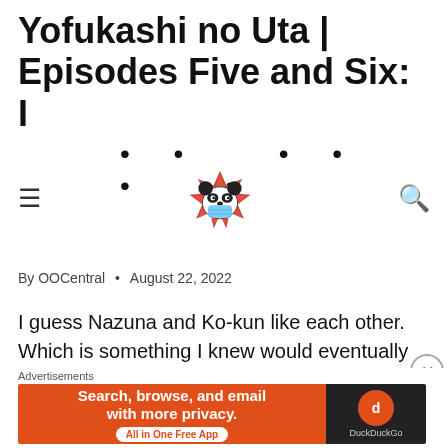Yofukashi no Uta | Episodes Five and Six: I
[Figure (logo): Website navigation bar with hamburger menu icon, panda mascot logo with mask and maple leaves, and search icon]
By OOCentral • August 22, 2022
I guess Nazuna and Ko-kun like each other. Which is something I knew would eventually happen, I mean we all saw it coming. But that being said, something I enjoyed about Yofukashi no Uta, especially as of late is that the character progression has felt natural and
[Figure (screenshot): DuckDuckGo advertisement banner: orange left side with text 'Search, browse, and email with more privacy. All in One Free App' and dark right side with DuckDuckGo logo]